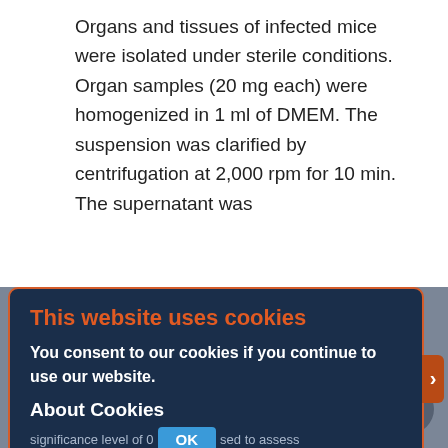Organs and tissues of infected mice were isolated under sterile conditions. Organ samples (20 mg each) were homogenized in 1 ml of DMEM. The suspension was clarified by centrifugation at 2,000 rpm for 10 min. The supernatant was collected to determine the virus-neutralizing titers of rVSV-GP...
Data were analyzed using EXCEL 2010 and the STATISTICA v. 7.0 software. The Mann–Whitney U test and the Gehan–Wilcoxon test with a significance level of 0.05 were used to assess intergroup differences in the antibody titers and animal survival.
[Figure (screenshot): Cookie consent modal overlay on a dark navy background with orange border. Title 'This website uses cookies' in orange. Body text 'You consent to our cookies if you continue to use our website.' in white bold. 'About Cookies' link in white bold. OK button in blue. Orange close button on the right side.]
Compliance with animal use regulations
Experimental procedures were carried out in